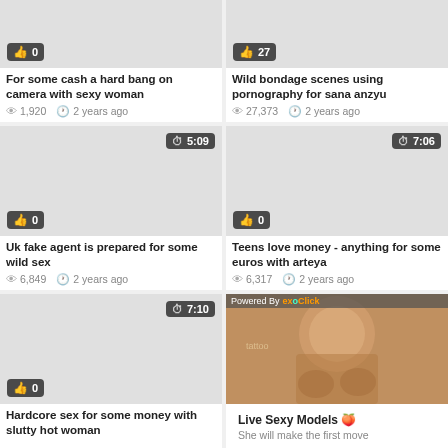[Figure (screenshot): Video thumbnail placeholder, light gray]
0
For some cash a hard bang on camera with sexy woman
1,920   2 years ago
[Figure (screenshot): Video thumbnail placeholder, light gray]
27
Wild bondage scenes using pornography for sana anzyu
27,373   2 years ago
[Figure (screenshot): Video thumbnail placeholder 5:09, light gray]
0
Uk fake agent is prepared for some wild sex
6,849   2 years ago
[Figure (screenshot): Video thumbnail placeholder 7:06, light gray]
0
Teens love money - anything for some euros with arteya
6,317   2 years ago
[Figure (screenshot): Video thumbnail placeholder 7:10, light gray]
0
Hardcore sex for some money with slutty hot woman
[Figure (photo): Ad: woman photo, Powered By ExoClick banner]
Live Sexy Models 🍑
She will make the first move